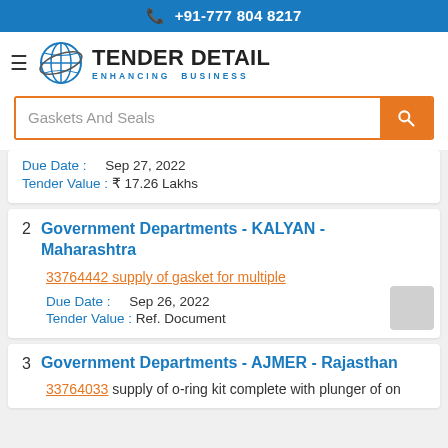+91-777 804 8217
[Figure (logo): Tender Detail globe logo with text TENDER DETAIL ENHANCING BUSINESS]
Gaskets And Seals
Due Date : Sep 27, 2022
Tender Value : ₹ 17.26 Lakhs
2  Government Departments - KALYAN - Maharashtra
33764442 supply of gasket for multiple
Due Date : Sep 26, 2022
Tender Value : Ref. Document
3  Government Departments - AJMER - Rajasthan
33764033 supply of o-ring kit complete with plunger of on